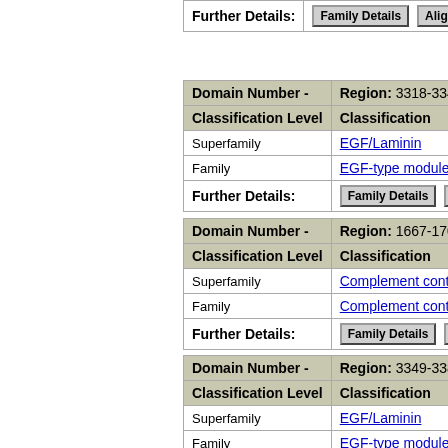| Further Details: | Family Details | Alignn |
| --- | --- |
| Domain Number -  | Region: 3318-3349 |
| --- | --- |
| Classification Level | Classification |
| Superfamily | EGF/Laminin |
| Family | EGF-type module |
| Further Details: | Family Details | Alignn |
| Domain Number -  | Region: 1667-1702 |
| --- | --- |
| Classification Level | Classification |
| Superfamily | Complement contro |
| Family | Complement contro |
| Further Details: | Family Details | Alignn |
| Domain Number -  | Region: 3349-3380 |
| --- | --- |
| Classification Level | Classification |
| Superfamily | EGF/Laminin |
| Family | EGF-type module |